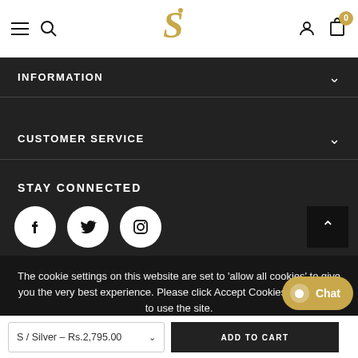Navigation bar with hamburger, search, logo, user and cart icons
INFORMATION
CUSTOMER SERVICE
STAY CONNECTED
[Figure (infographic): Social media icons: Facebook, Twitter, Instagram (white circles on dark background)]
LIKE US ON FACEBOOK
The cookie settings on this website are set to 'allow all cookies' to give you the very best experience. Please click Accept Cookies to continue to use the site.
PRIVACY POLICY   ACCEPT ✓
SIGN UP FOR OUR NEWSLETTER
S / Silver – Rs.2,795.00   ADD TO CART